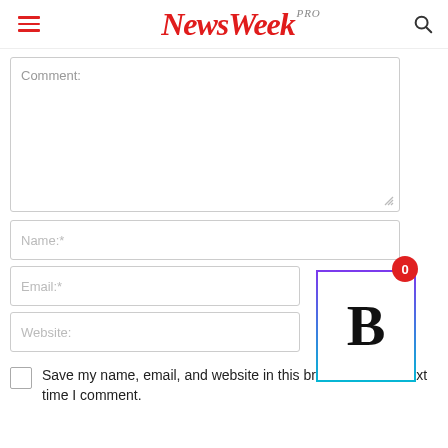NewsWeek PRO
Comment:
Name:*
Email:*
Website:
[Figure (screenshot): B logo image with gradient purple-to-teal border, notification badge showing 0]
Save my name, email, and website in this browser for the next time I comment.